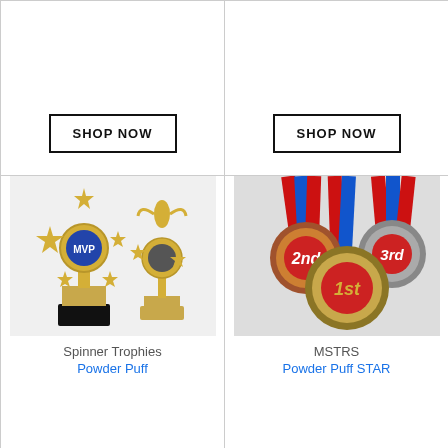[Figure (photo): Top-left cell with SHOP NOW button (product image area above, partially cropped)]
[Figure (other): SHOP NOW button in top-left cell]
[Figure (photo): Top-right cell with SHOP NOW button (product image area above, partially cropped)]
[Figure (other): SHOP NOW button in top-right cell]
[Figure (photo): Spinner Trophies product photo showing two gold star trophies with MVP and figure inserts]
Spinner Trophies
Powder Puff
[Figure (photo): MSTRS medals product photo showing 1st, 2nd, 3rd place medals with red/blue ribbons]
MSTRS
Powder Puff STAR